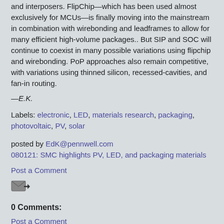and interposers. FlipChip—which has been used almost exclusively for MCUs—is finally moving into the mainstream in combination with wirebonding and leadframes to allow for many efficient high-volume packages.. But SIP and SOC will continue to coexist in many possible variations using flipchip and wirebonding. PoP approaches also remain competitive, with variations using thinned silicon, recessed-cavities, and fan-in routing.
—E.K.
Labels: electronic, LED, materials research, packaging, photovoltaic, PV, solar
posted by EdK@pennwell.com
080121: SMC highlights PV, LED, and packaging materials
Post a Comment
[Figure (other): Email/forward icon showing an envelope with a right-pointing arrow]
0 Comments:
Post a Comment